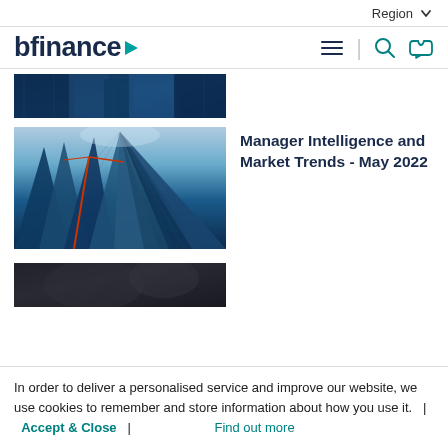Region ▾
[Figure (logo): bfinance logo with teal arrow triangle]
[Figure (photo): Partial view of glass skyscrapers from below, blue tones]
[Figure (photo): Looking up at glass skyscrapers with crane, blue tones]
Manager Intelligence and Market Trends - May 2022
[Figure (photo): Blurred dark photo, partial view at bottom]
In order to deliver a personalised service and improve our website, we use cookies to remember and store information about how you use it.   |   Accept & Close   |   Find out more